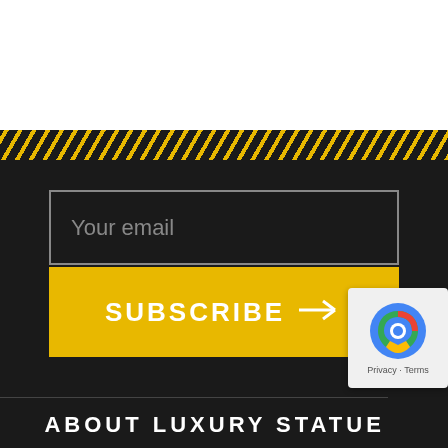[Figure (other): Top white blank area]
[Figure (other): Diagonal yellow and black hazard stripe band]
Your email
SUBSCRIBE →
[Figure (other): reCAPTCHA badge with Privacy and Terms links]
ABOUT LUXURY STATUES